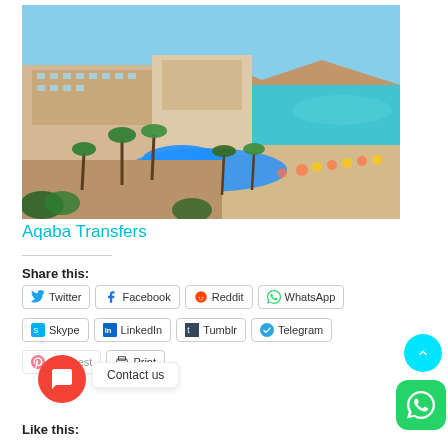[Figure (photo): Aerial view of Aqaba resort hotel with large swimming pool, palm trees, beach with umbrellas, turquoise sea water, and mountains in the background under a blue sky.]
Aqaba Transfers
Share this:
Twitter Facebook Reddit WhatsApp Skype LinkedIn Tumblr Telegram Pinterest Print
Like this: